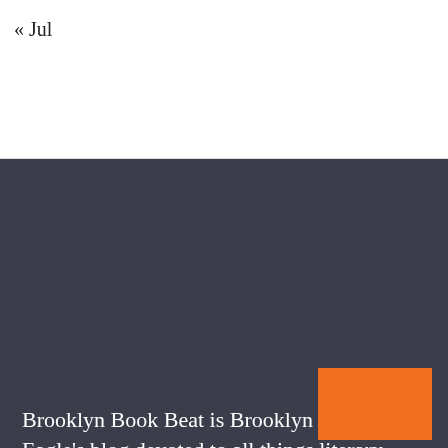« Jul
Brooklyn Book Beat is Brooklyn Daily Eagle's blog devoted to all things literary — books, authors, history, and associated events.
The Eagle, once edited by Walt Whitman, has long been covering Brooklyn news and events, but this blog serves as a special haven